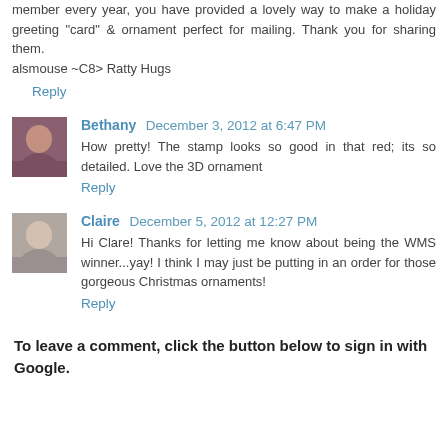member every year, you have provided a lovely way to make a holiday greeting "card" & ornament perfect for mailing. Thank you for sharing them.
alsmouse ~C8> Ratty Hugs
Reply
Bethany  December 3, 2012 at 6:47 PM
How pretty! The stamp looks so good in that red; its so detailed. Love the 3D ornament
Reply
Claire  December 5, 2012 at 12:27 PM
Hi Clare! Thanks for letting me know about being the WMS winner...yay! I think I may just be putting in an order for those gorgeous Christmas ornaments!
Reply
To leave a comment, click the button below to sign in with Google.